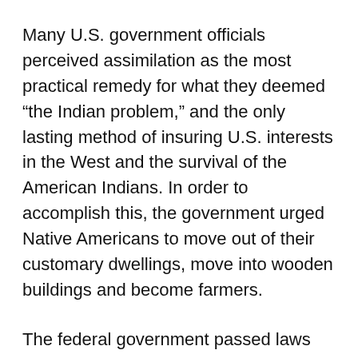Many U.S. government officials perceived assimilation as the most practical remedy for what they deemed “the Indian problem,” and the only lasting method of insuring U.S. interests in the West and the survival of the American Indians. In order to accomplish this, the government urged Native Americans to move out of their customary dwellings, move into wooden buildings and become farmers.
The federal government passed laws that forced Native Americans to abandon their established appearance and way of living. Some laws banned customary spiritual practices while others ordered Indian men to cut their long hair. Agents on more than two-thirds of American Indian reservations organized tribunals to implement federal polices that often restricted traditional ethnic and religious practices.